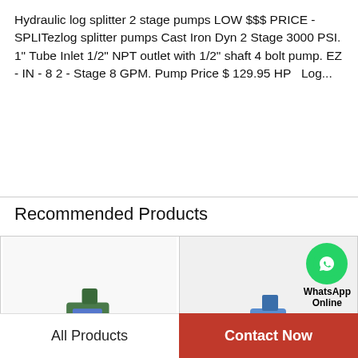Hydraulic log splitter 2 stage pumps LOW $$$ PRICE - SPLITezlog splitter pumps Cast Iron Dyn 2 Stage 3000 PSI. 1" Tube Inlet 1/2" NPT outlet with 1/2" shaft 4 bolt pump. EZ - IN - 8 2 - Stage 8 GPM. Pump Price $ 129.95 HP  Log...
Recommended Products
[Figure (photo): Green hydraulic pump with gold shaft, multiple ports and bolts visible]
[Figure (photo): Blue hydraulic pump with silver shaft and a WhatsApp Online overlay icon in the top right corner]
All Products
Contact Now